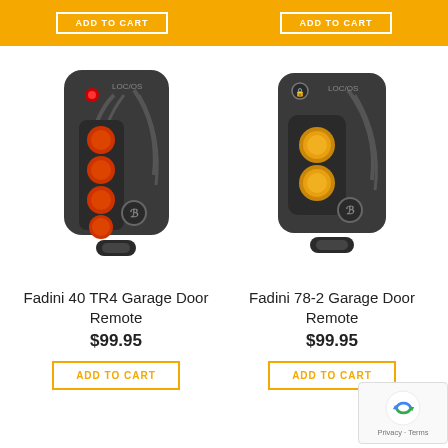[Figure (other): Top orange banner with ADD TO CART buttons]
[Figure (photo): Fadini 40 TR4 Garage Door Remote - black remote with 4 orange/red buttons and red LED indicator]
Fadini 40 TR4 Garage Door Remote
$99.95
[Figure (photo): Fadini 78-2 Garage Door Remote - black compact remote with 2 yellow buttons]
Fadini 78-2 Garage Door Remote
$99.95